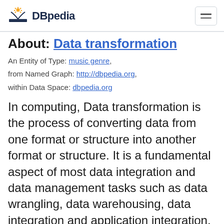DBpedia
About: Data transformation
An Entity of Type: music genre, from Named Graph: http://dbpedia.org, within Data Space: dbpedia.org
In computing, Data transformation is the process of converting data from one format or structure into another format or structure. It is a fundamental aspect of most data integration and data management tasks such as data wrangling, data warehousing, data integration and application integration. When the data mapping is indirect via a mediating data model, the process is also